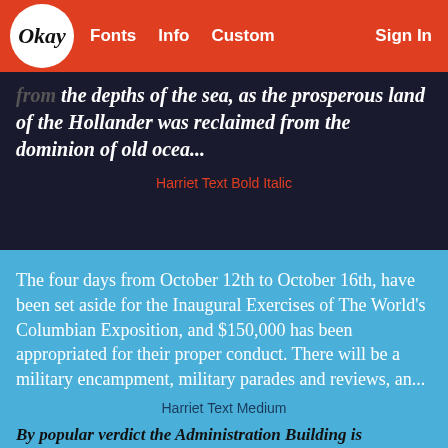Okay  Fonts  Info  Custom  Sign In
from the depths of the sea, as the prosperous land of the Hollander was reclaimed from the dominion of old ocea...
Harriet Text Bold Italic
The four days from October 12th to October 16th, have been set aside for the Inaugural Exercises of The World's Columbian Exposition, and $150,000 has been appropriated for their proper conduct. There will be a military encampment, military parades and reviews, an...
Harriet Text Medium
By popular verdict the Administration Building is pronounced the gem and crown of the Exposition Buildings. It is located at the west end of the great court in the